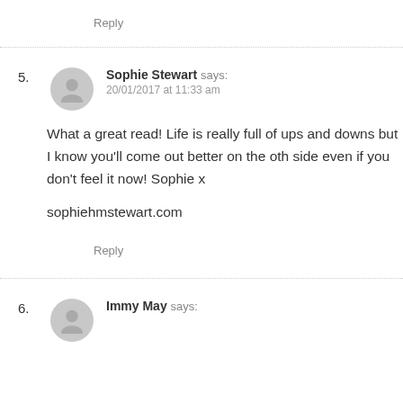Reply
5. Sophie Stewart says: 20/01/2017 at 11:33 am
What a great read! Life is really full of ups and downs but I know you'll come out better on the other side even if you don't feel it now! Sophie x
sophiehmstewart.com
Reply
6. Immy May says: